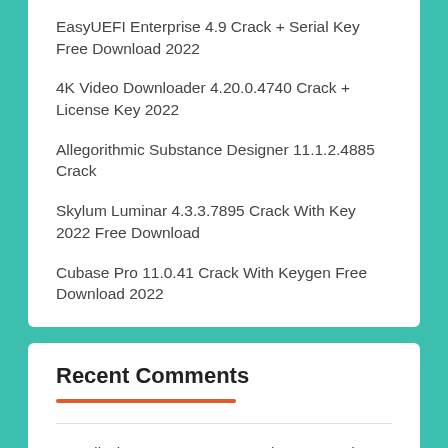EasyUEFI Enterprise 4.9 Crack + Serial Key Free Download 2022
4K Video Downloader 4.20.0.4740 Crack + License Key 2022
Allegorithmic Substance Designer 11.1.2.4885 Crack
Skylum Luminar 4.3.3.7895 Crack With Key 2022 Free Download
Cubase Pro 11.0.41 Crack With Keygen Free Download 2022
Recent Comments
aronejivah on EasyUEFI Enterprise 4.9 Crack + Serial Key Free Download 2022
A. Jones on Xara Photo Graphic Designer v18.5.1.12421